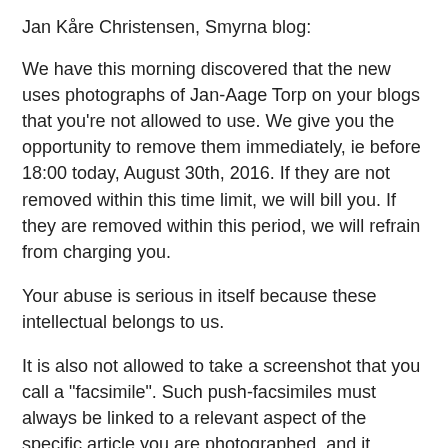Jan Kåre Christensen, Smyrna blog:
We have this morning discovered that the new uses photographs of Jan-Aage Torp on your blogs that you're not allowed to use. We give you the opportunity to remove them immediately, ie before 18:00 today, August 30th, 2016. If they are not removed within this time limit, we will bill you. If they are removed within this period, we will refrain from charging you.
Your abuse is serious in itself because these intellectual belongs to us.
It is also not allowed to take a screenshot that you call a "facsimile". Such push-facsimiles must always be linked to a relevant aspect of the specific article you are photographed, and it makes you not at all.
In addition to that we notify you of invoices with the first, we will appeal to the most elementary common decency and sense of justice. It is obvious to refrain from such thefts.